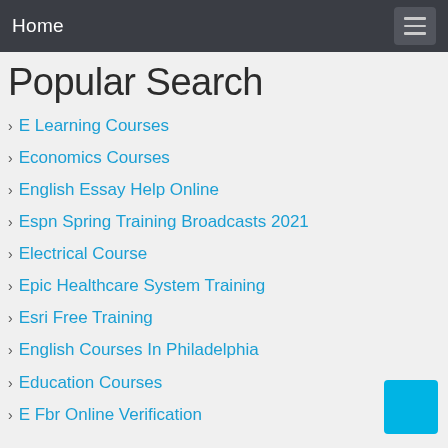Home
Popular Search
E Learning Courses
Economics Courses
English Essay Help Online
Espn Spring Training Broadcasts 2021
Electrical Course
Epic Healthcare System Training
Esri Free Training
English Courses In Philadelphia
Education Courses
E Fbr Online Verification